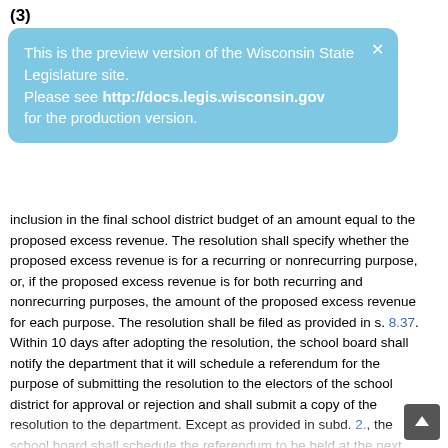(3)
This is the preview version of the Wisconsin State Legislature site. Please see http://docs.legis.wisconsin.gov for the production version.
inclusion in the final school district budget of an amount equal to the proposed excess revenue. The resolution shall specify whether the proposed excess revenue is for a recurring or nonrecurring purpose, or, if the proposed excess revenue is for both recurring and nonrecurring purposes, the amount of the proposed excess revenue for each purpose. The resolution shall be filed as provided in s. 8.37. Within 10 days after adopting the resolution, the school board shall notify the department that it will schedule a referendum for the purpose of submitting the resolution to the electors of the school district for approval or rejection and shall submit a copy of the resolution to the department. Except as provided in subd. 2., the school board shall schedule the referendum to be held at the next regularly scheduled spring primary or election or partisan primary or general election, provided such election is to be held not sooner than 70 days after the filing of the resolution of the school board. A school board may proceed under this subdivision and under 67.05 (6a) (a) 2. a. no more than 2 times in any calen